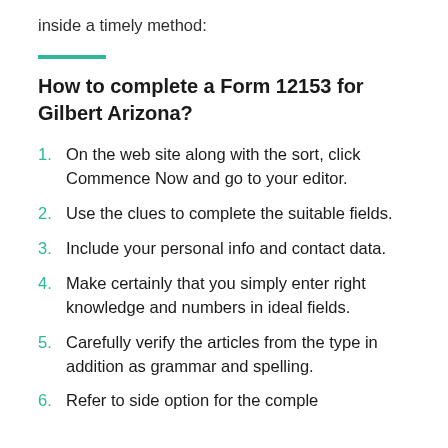inside a timely method:
How to complete a Form 12153 for Gilbert Arizona?
On the web site along with the sort, click Commence Now and go to your editor.
Use the clues to complete the suitable fields.
Include your personal info and contact data.
Make certainly that you simply enter right knowledge and numbers in ideal fields.
Carefully verify the articles from the type in addition as grammar and spelling.
Refer to side option for the complete...